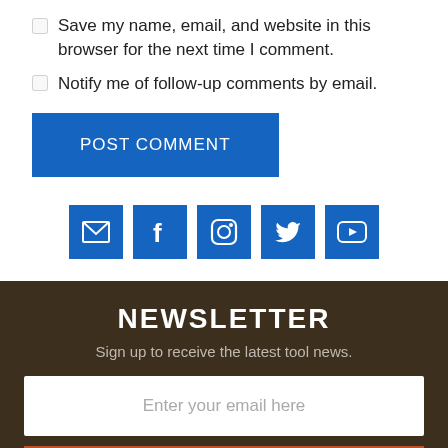Save my name, email, and website in this browser for the next time I comment.
Notify me of follow-up comments by email.
POST COMMENT
[Figure (infographic): A row of 5 blue square social media icon buttons: email (envelope), Facebook (f), Instagram (camera), Twitter (bird), YouTube (play button)]
NEWSLETTER
Sign up to receive the latest tool news.
Enter your email here
SIGN UP NOW